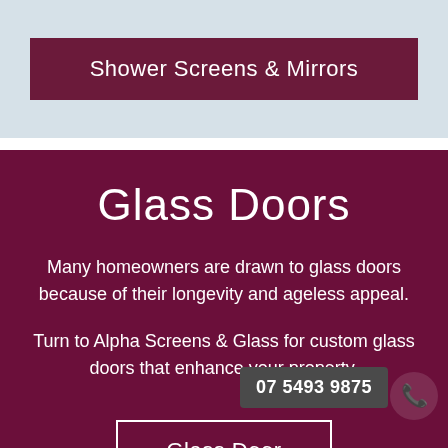Shower Screens & Mirrors
Glass Doors
Many homeowners are drawn to glass doors because of their longevity and ageless appeal.
Turn to Alpha Screens & Glass for custom glass doors that enhance your property.
Glass Doors
07 5493 9875